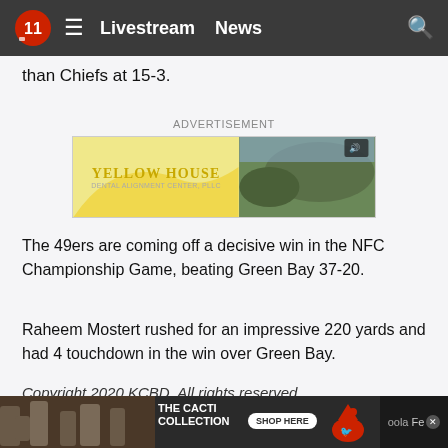Livestream  News
than Chiefs at 15-3.
ADVERTISEMENT
[Figure (illustration): Yellow House advertisement banner with yellow blob shape on left and desert hill landscape photo on right]
The 49ers are coming off a decisive win in the NFC Championship Game, beating Green Bay 37-20.
Raheem Mostert rushed for an impressive 220 yards and had 4 touchdown in the win over Green Bay.
Copyright 2020 KCBD. All rights reserved.
[Figure (illustration): Bottom advertisement banner: The Cacti Collection with Shop Here button and bird logo, oola branding on right]